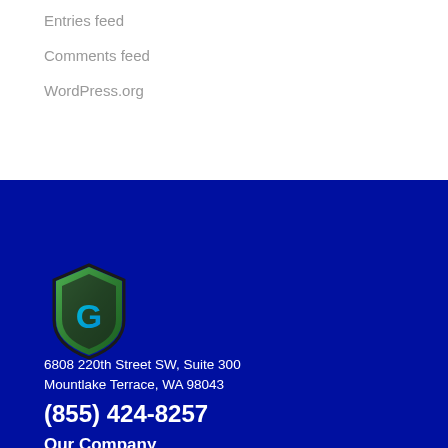Entries feed
Comments feed
WordPress.org
[Figure (logo): Green shield logo with letter G in blue/teal gradient]
6808 220th Street SW, Suite 300
Mountlake Terrace, WA 98043
(855) 424-8257
Our Company